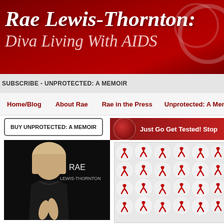Rae Lewis-Thornton: Diva Living With AIDS
SUBSCRIBE - UNPROTECTED: A MEMOIR
Home/Blog   About Rae   Rae in the Press   Unprotected: A Memoir
BUY UNPROTECTED: A MEMOIR
Just Go Get Tested! Stop
[Figure (photo): Photo of Rae Lewis-Thornton, a woman with blonde hair wearing a black dress, seated pose against dark background. Text overlay reads RAE LEWIS-THORNTON]
[Figure (photo): Close-up photo of many white spherical objects covered with red AIDS awareness ribbon symbols]